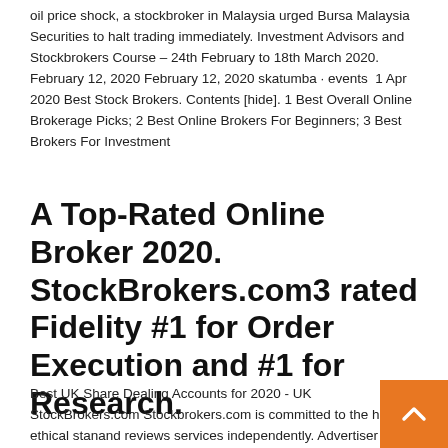oil price shock, a stockbroker in Malaysia urged Bursa Malaysia Securities to halt trading immediately. Investment Advisors and Stockbrokers Course – 24th February to 18th March 2020. February 12, 2020 February 12, 2020 skatumba · events  1 Apr 2020 Best Stock Brokers. Contents [hide]. 1 Best Overall Online Brokerage Picks; 2 Best Online Brokers For Beginners; 3 Best Brokers For Investment
A Top-Rated Online Broker 2020. StockBrokers.com3 rated Fidelity #1 for Order Execution and #1 for Research.
Best UK Share Dealing Accounts for 2020 - UK StockBrokers.com Stockbrokers.com is committed to the highest ethical stan and reviews services independently. Advertiser Disclosure